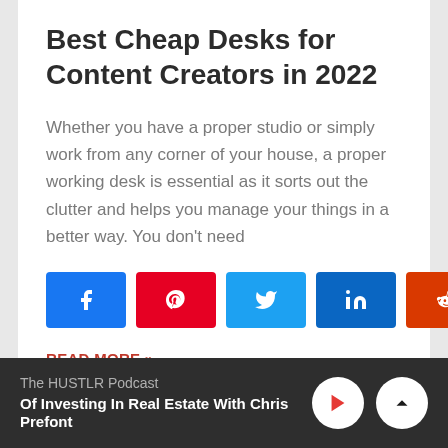Best Cheap Desks for Content Creators in 2022
Whether you have a proper studio or simply work from any corner of your house, a proper working desk is essential as it sorts out the clutter and helps you manage your things in a better way. You don't need
[Figure (other): Social sharing buttons: Facebook (blue), Pinterest (red), Twitter (light blue), LinkedIn (dark blue), Reddit (orange-red)]
READ MORE »
The HUSTLR Podcast — Of Investing In Real Estate With Chris Prefont